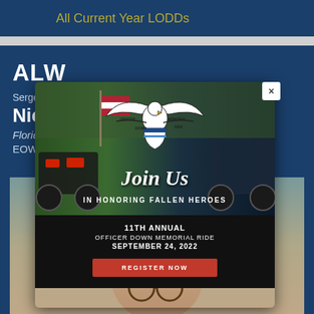All Current Year LODDs
ALW
Sergeant
Nich
Florida
EOW:
[Figure (photo): Screenshot of a memorial page showing Officer Down Memorial Ride popup modal overlay on a dark blue background. The modal contains a photo of motorcycles with American flag, the Officer Down Memorial Ride eagle logo, 'Join Us IN HONORING FALLEN HEROES' text, '11TH ANNUAL OFFICER DOWN MEMORIAL RIDE SEPTEMBER 24, 2022' text, and a red REGISTER NOW button. Behind the modal is partially visible text about a Sergeant with EOW date and a portrait photo of a person wearing glasses.]
11TH ANNUAL
OFFICER DOWN MEMORIAL RIDE
SEPTEMBER 24, 2022
REGISTER NOW